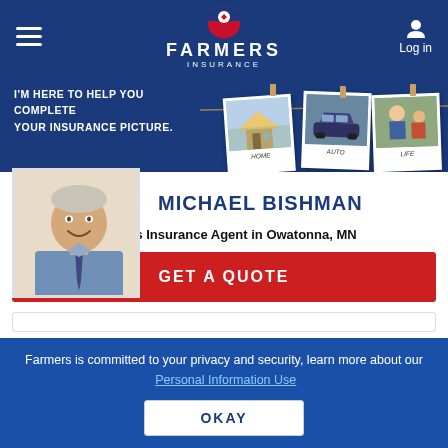[Figure (logo): Farmers Insurance logo with shield emblem, FARMERS INSURANCE text in white on dark blue nav bar]
[Figure (screenshot): Hero banner with text 'I'M HERE TO HELP YOU COMPLETE YOUR INSURANCE PICTURE.' and three polaroid-style photos labeled HOME, AUTO, LIFE hanging on a string]
[Figure (photo): Headshot photo of Michael Bishman, a man in a blue shirt and tie, smiling]
MICHAEL BISHMAN
Farmers Insurance Agent in Owatonna, MN
GET A QUOTE
Farmers is committed to your privacy and security, learn more about our Personal Information Use
OKAY